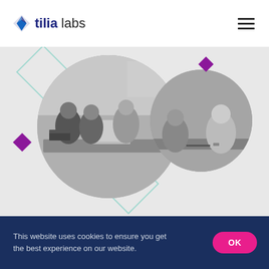[Figure (logo): Tilia Labs logo with blue diamond/arrow icon and text 'tilia labs' and hamburger menu icon on right]
[Figure (photo): Two overlapping circular cropped black-and-white photos of people in a meeting/working environment around a table with laptops, with purple diamond and teal outline diamond decorations]
This website uses cookies to ensure you get the best experience on our website.